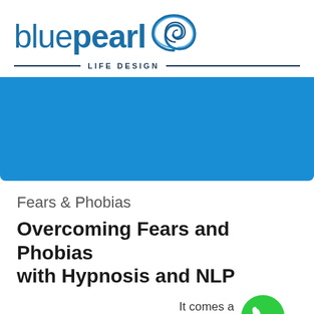[Figure (logo): Blue Pearl Life Design logo — 'bluepearl' text in blue with a swirl icon, and 'LIFE DESIGN' tagline below with horizontal lines]
[Figure (illustration): Solid blue banner/hero image area]
Fears & Phobias
Overcoming Fears and Phobias with Hypnosis and NLP
It comes as no surprise even the most